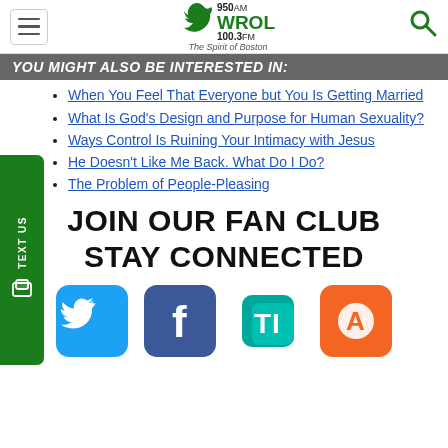950 AM WROL 100.3 FM — The Spirit of Boston
YOU MIGHT ALSO BE INTERESTED IN:
When You Feel That Everyone but You Is Getting Married
What Is God's Design and Purpose for Human Sexuality?
Ways Control Is Ruining Your Intimacy with Jesus
He Doesn't Like Me Back. What Do I Do?
The Problem of People-Pleasing
JOIN OUR FAN CLUB STAY CONNECTED
[Figure (logo): Social media icons: Twitter (blue bird), Facebook (blue f), TuneIn (teal T+I), Audioboom (orange circle with A)]